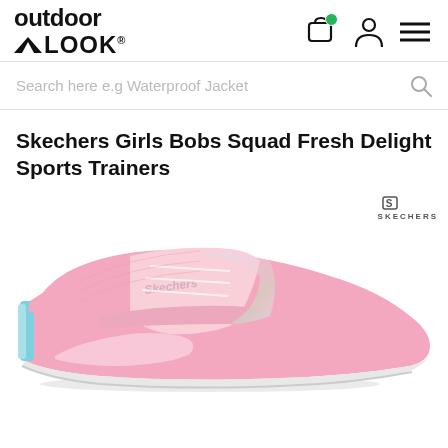outdoor LOOK
Search here e.g Waterproof Jacket
Skechers Girls Bobs Squad Fresh Delight Sports Trainers
[Figure (photo): Pink Skechers Girls Bobs Squad Fresh Delight Sports Trainers shoe with light blue accent on heel, shown from the side on a white background. Skechers logo visible in top right of image area.]